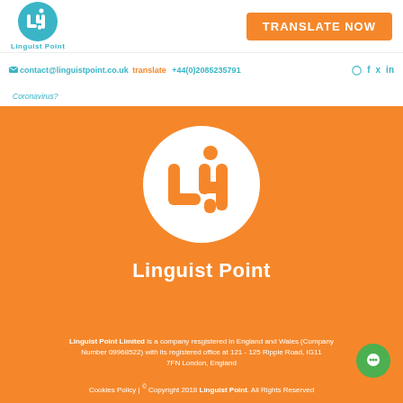[Figure (logo): Linguist Point logo: teal circle with stylized 'LP' letters and dot on top]
Linguist Point
TRANSLATE NOW
contact@linguistpoint.co.uk  +44(0)2085235791
Coronavirus?
[Figure (logo): Linguist Point large circular logo on orange background: white circle with orange LP icon]
Linguist Point
Linguist Point Limited is a company resgistered in England and Wales (Company Number 09968522) with its registered office at 121 - 125 Ripple Road, IG11 7FN London, England
Cookies Policy | © Copyright 2018 Linguist Point. All Rights Reserved